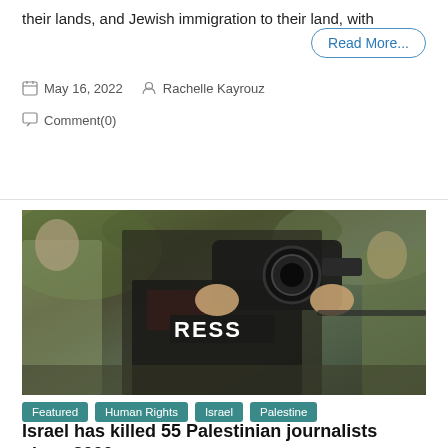their lands, and Jewish immigration to their land, with
Read More...
May 16, 2022   Rachelle Kayrouz
Comment(0)
[Figure (photo): A journalist wearing a PRESS vest holding a camera up to their face, with armed soldiers in camouflage in the background.]
Featured   Human Rights   Israel   Palestine
Israel has killed 55 Palestinian journalists since 2000